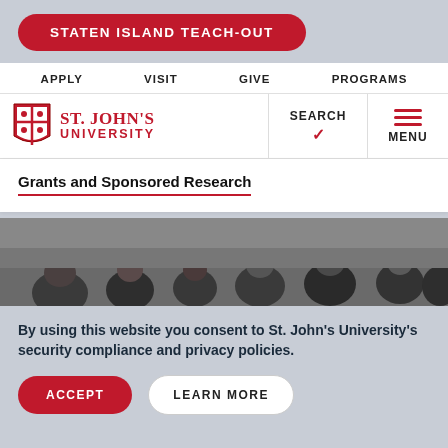STATEN ISLAND TEACH-OUT
APPLY  VISIT  GIVE  PROGRAMS
[Figure (logo): St. John's University shield logo with red crest, beside red text reading ST. JOHN'S UNIVERSITY]
Grants and Sponsored Research
[Figure (photo): Group of people gathered together, looking downward, in a dimly lit indoor setting]
By using this website you consent to St. John's University's security compliance and privacy policies.
ACCEPT
LEARN MORE